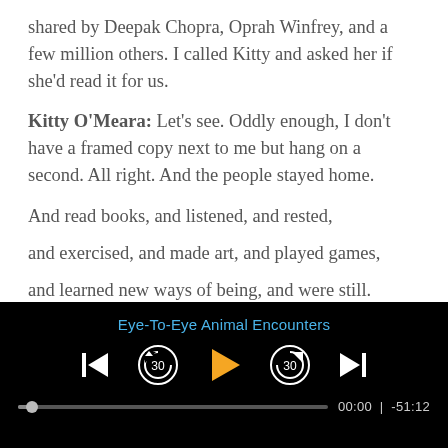shared by Deepak Chopra, Oprah Winfrey, and a few million others. I called Kitty and asked her if she'd read it for us.
Kitty O'Meara: Let's see. Oddly enough, I don't have a framed copy next to me but hang on a second. All right. And the people stayed home.
And read books, and listened, and rested,
and exercised, and made art, and played games,
and learned new ways of being, and were still.
And listened more deeply,
[Figure (screenshot): Podcast/audio player bar with title 'Eye-To-Eye Animal Encounters', playback controls (skip to start, rewind 30s, play, forward 30s, skip to end), progress bar showing 00:00 | -51:12]